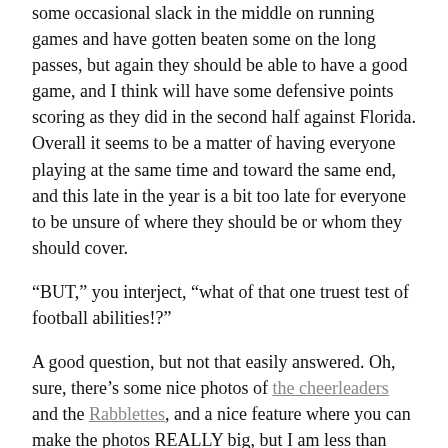some occasional slack in the middle on running games and have gotten beaten some on the long passes, but again they should be able to have a good game, and I think will have some defensive points scoring as they did in the second half against Florida. Overall it seems to be a matter of having everyone playing at the same time and toward the same end, and this late in the year is a bit too late for everyone to be unsure of where they should be or whom they should cover.
“BUT,” you interject, “what of that one truest test of football abilities!?”
A good question, but not that easily answered. Oh, sure, there’s some nice photos of the cheerleaders and the Rabblettes, and a nice feature where you can make the photos REALLY big, but I am less than impressed with the number of photos. As is also usual, though, I’m not too impressed with Auburn’s website either. Call it a toss up. Or a herky. Or something.
ANYWHO, it is now that time of the show when we